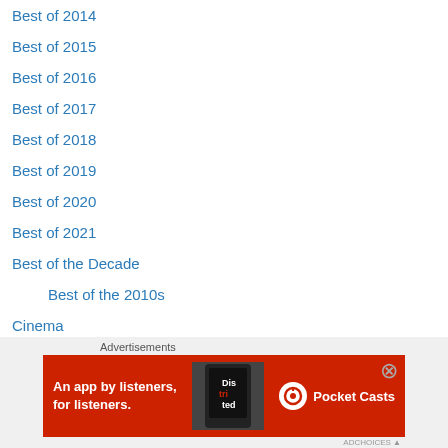Best of 2014
Best of 2015
Best of 2016
Best of 2017
Best of 2018
Best of 2019
Best of 2020
Best of 2021
Best of the Decade
Best of the 2010s
Cinema
A Year at the Movies
Best in Film 2011
Best in Film 2012
Best in Film 2013
Best in Film 2014
[Figure (infographic): Pocket Casts advertisement banner: red background with text 'An app by listeners, for listeners.' and Pocket Casts logo with phone graphic]